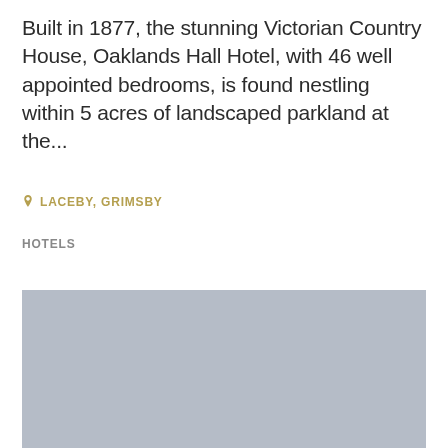Built in 1877, the stunning Victorian Country House, Oaklands Hall Hotel, with 46 well appointed bedrooms, is found nestling within 5 acres of landscaped parkland at the...
LACEBY, GRIMSBY
HOTELS
[Figure (photo): Gray placeholder image block representing a hotel photo]